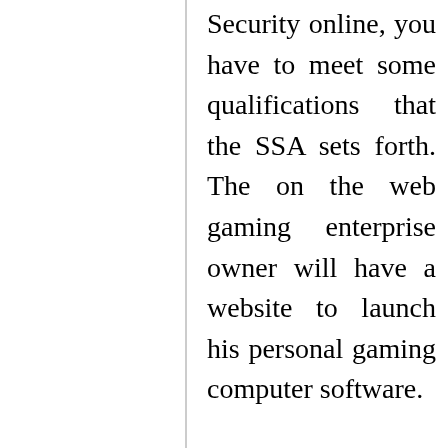Security online, you have to meet some qualifications that the SSA sets forth. The on the web gaming enterprise owner will have a website to launch his personal gaming computer software.
This service gives rapid, free of charge, and secure online W-2 filing selections to CPAs, accountants, enrolled agents, and individuals who procedure W-2s (the Wage